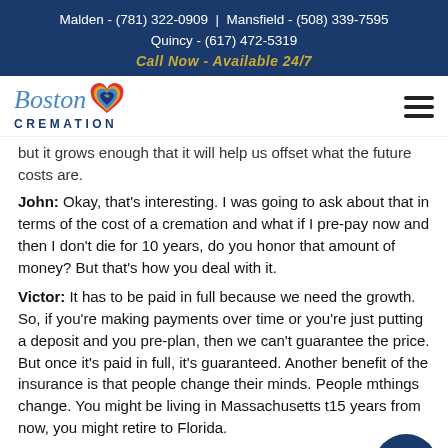Malden - (781) 322-0909 | Mansfield - (508) 339-7595 Quincy - (617) 472-5319 Call Now - Available 24/7
[Figure (logo): Boston Cremation logo with colorful heart icon and text 'Boston CREMATION']
but it grows enough that it will help us offset what the future costs are.
John: Okay, that's interesting. I was going to ask about that in terms of the cost of a cremation and what if I pre-pay now and then I don't die for 10 years, do you honor that amount of money? But that's how you deal with it.
Victor: It has to be paid in full because we need the growth. So, if you're making payments over time or you're just putting a deposit and you pre-plan, then we can't guarantee the price. But once it's paid in full, it's guaranteed. Another benefit of the insurance is that people change their minds. People m... things change. You might be living in Massachusetts t... 15 years from now, you might retire to Florida.
Well, if you retired to Florida, you have to start over in a brand-new...